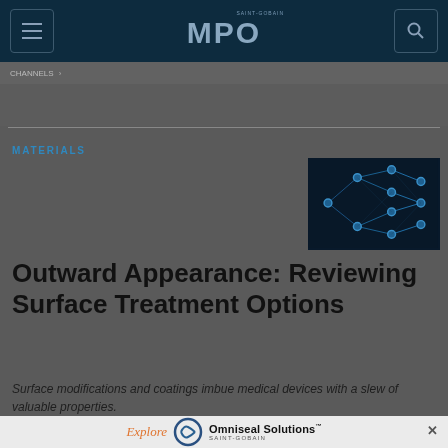MPO
MATERIALS
[Figure (illustration): Dark blue neural network / microscopic network illustration on black background]
Outward Appearance: Reviewing Surface Treatment Options
Surface modifications and coatings imbue medical devices with a slew of valuable properties.
[Figure (logo): Omniseal Solutions Saint-Gobain advertisement banner with circular logo]